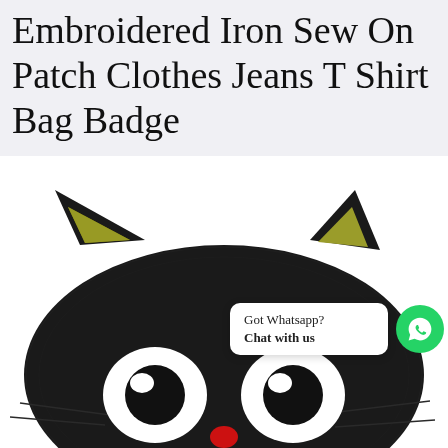Lucky Black Cat Embroidered Iron Sew On Patch Clothes Jeans T Shirt Bag Badge
[Figure (photo): Close-up photo of a black embroidered cat face patch with yellow inner ears, large white eyes with black pupils, a small red nose, and whiskers. A WhatsApp chat widget overlay shows 'Got Whatsapp? Chat with us' with the WhatsApp green icon.]